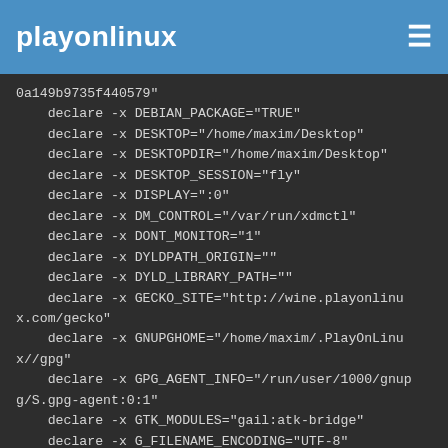playonlinux
0a149b9735f440579"
    declare -x DEBIAN_PACKAGE="TRUE"
    declare -x DESKTOP="/home/maxim/Desktop"
    declare -x DESKTOPDIR="/home/maxim/Desktop"
    declare -x DESKTOP_SESSION="fly"
    declare -x DISPLAY=":0"
    declare -x DM_CONTROL="/var/run/xdmctl"
    declare -x DONT_MONITOR="1"
    declare -x DYLDPATH_ORIGIN=""
    declare -x DYLD_LIBRARY_PATH=""
    declare -x GECKO_SITE="http://wine.playonlinux.com/gecko"
    declare -x GNUPGHOME="/home/maxim/.PlayOnLinux//gpg"
    declare -x GPG_AGENT_INFO="/run/user/1000/gnupg/S.gpg-agent:0:1"
    declare -x GTK_MODULES="gail:atk-bridge"
    declare -x G_FILENAME_ENCODING="UTF-8"
    declare -x HOME="/home/maxim"